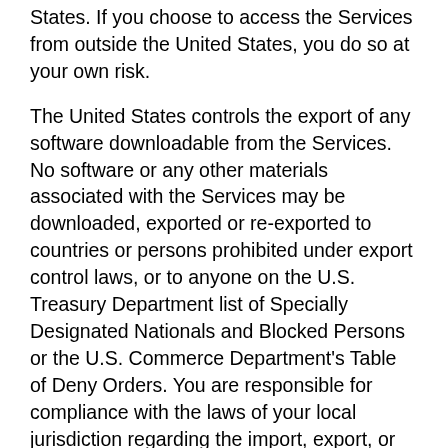States. If you choose to access the Services from outside the United States, you do so at your own risk.
The United States controls the export of any software downloadable from the Services. No software or any other materials associated with the Services may be downloaded, exported or re-exported to countries or persons prohibited under export control laws, or to anyone on the U.S. Treasury Department list of Specially Designated Nationals and Blocked Persons or the U.S. Commerce Department's Table of Deny Orders. You are responsible for compliance with the laws of your local jurisdiction regarding the import, export, or re-export of any such materials. By using and/or downloading any such materials from the Services, you represent and warrant that you are not located in, under the control of, or a national or